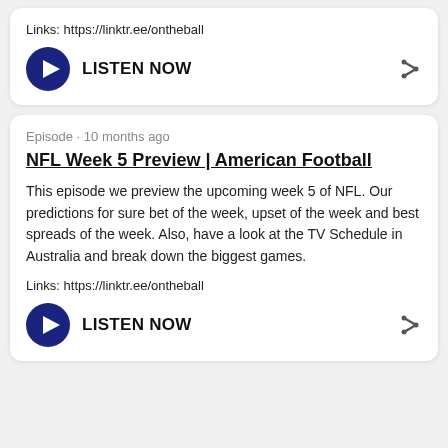Links: https://linktr.ee/ontheball
LISTEN NOW
Episode · 10 months ago
NFL Week 5 Preview | American Football
This episode we preview the upcoming week 5 of NFL. Our predictions for sure bet of the week, upset of the week and best spreads of the week. Also, have a look at the TV Schedule in Australia and break down the biggest games.
Links: https://linktr.ee/ontheball
LISTEN NOW